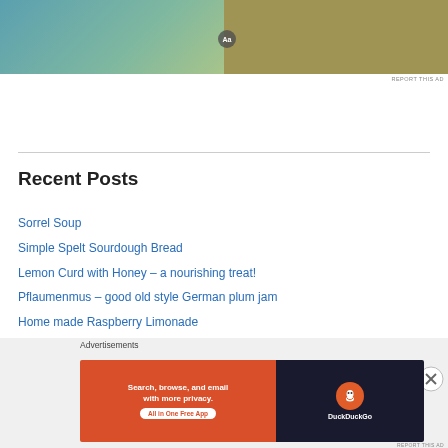[Figure (photo): Partial view of an advertisement image showing a gradient teal/green background on the left and a person in a yellow puffer jacket on the right with a phone mockup overlay and an Aa button]
REPORT THIS AD
Recent Posts
Sorrel Soup
Simple Spelt Sourdough Bread
Lemon Curd with Honey – a nourishing treat!
Pflaumenmus – good old style German plum jam
Home made Raspberry Limonade
Archives
[Figure (screenshot): DuckDuckGo advertisement banner: 'Search, browse, and email with more privacy. All in One Free App' with DuckDuckGo duck logo on dark background]
REPORT THIS AD